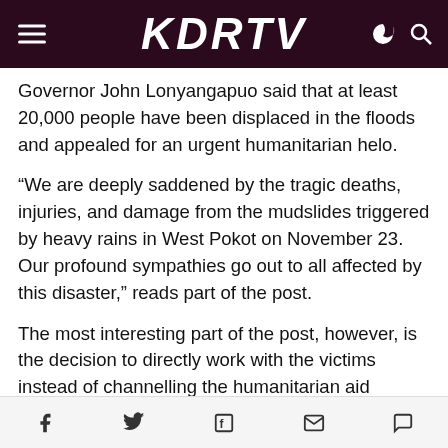KDRTV
Governor John Lonyangapuo said that at least 20,000 people have been displaced in the floods and appealed for an urgent humanitarian helo.
“We are deeply saddened by the tragic deaths, injuries, and damage from the mudslides triggered by heavy rains in West Pokot on November 23. Our profound sympathies go out to all affected by this disaster,” reads part of the post.
The most interesting part of the post, however, is the decision to directly work with the victims instead of channelling the humanitarian aid through the relevant government bodies.
Social share icons: Facebook, Twitter, Flipboard, Email, Comment